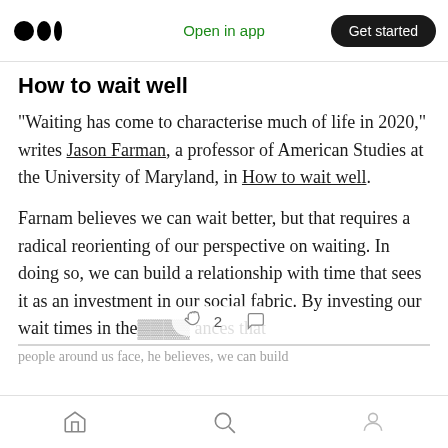Open in app | Get started
How to wait well
“Waiting has come to characterise much of life in 2020,” writes Jason Farman, a professor of American Studies at the University of Maryland, in How to wait well.
Farnam believes we can wait better, but that requires a radical reorienting of our perspective on waiting. In doing so, we can build a relationship with time that sees it as an investment in our social fabric. By investing our wait times in the… ances that people around us face, he believes, we can build
Home | Search | Profile